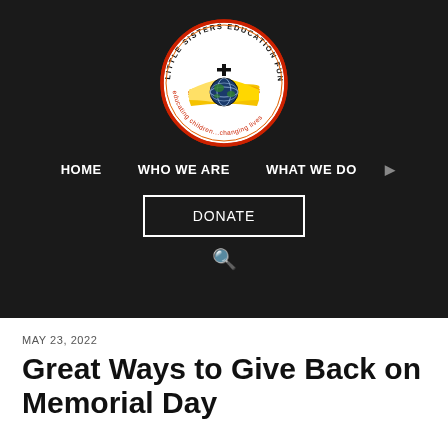[Figure (logo): Little Sisters Education Fund circular logo with cross, open book, globe, and text 'LITTLE SISTERS EDUCATION FUND' around the border]
HOME   WHO WE ARE   WHAT WE DO   DONATE
MAY 23, 2022
Great Ways to Give Back on Memorial Day